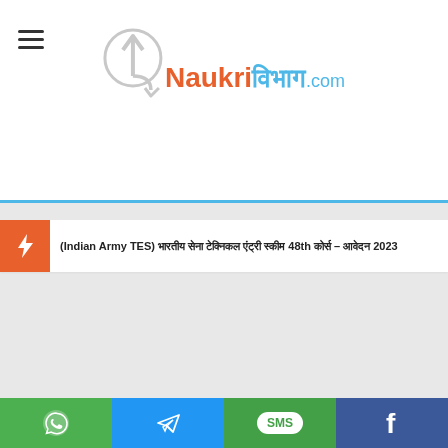[Figure (logo): Naukri Vibhag .com logo with arrow icon, orange and blue text]
(Indian Army TES) भारतीय सेना टेक्निकल एंट्री स्कीम 48th कोर्स – आवेदन 2023
[Figure (other): Social media sharing bar with WhatsApp, Telegram, SMS, Facebook buttons]